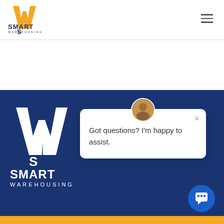[Figure (logo): Smart Warehousing logo - orange W with SW letters and dark blue SMART WAREHOUSING text, top left header]
[Figure (screenshot): Hamburger menu icon (three horizontal lines) in top right navigation]
[Figure (logo): Smart Warehousing white logo on dark blue background, bottom left footer area]
[Figure (screenshot): Chat popup widget with avatar, close button, and text: Got questions? I'm happy to assist.]
Got questions? I'm happy to assist.
[Figure (illustration): Blue circular chat bubble button icon bottom right]